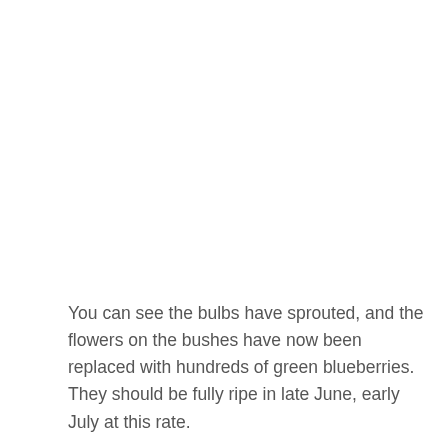You can see the bulbs have sprouted, and the flowers on the bushes have now been replaced with hundreds of green blueberries.  They should be fully ripe in late June, early July at this rate.